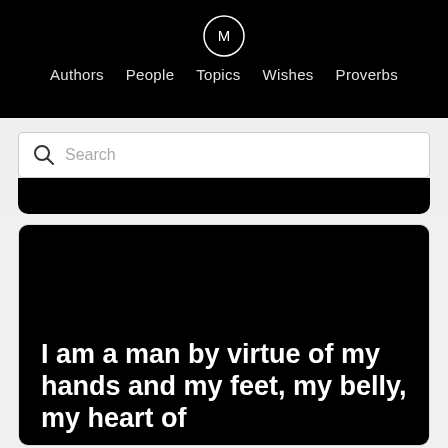Authors  People  Topics  Wishes  Proverbs
Search
I am a man by virtue of my hands and my feet, my belly, my heart of